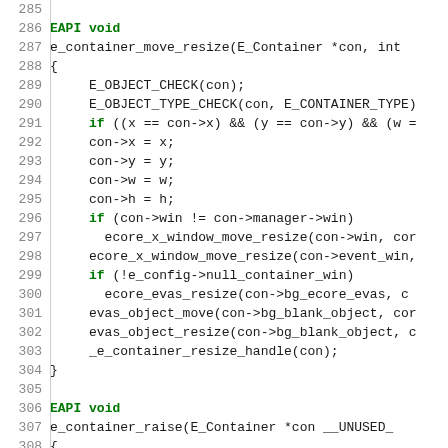[Figure (screenshot): Source code listing showing C function e_container_move_resize and beginning of e_container_raise, with line numbers 285-311]